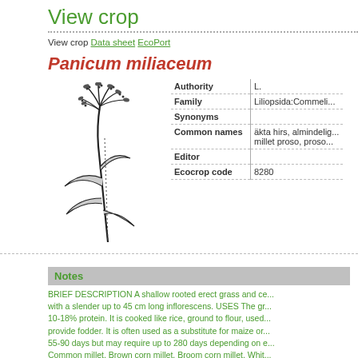View crop
View crop Data sheet EcoPort
Panicum miliaceum
[Figure (illustration): Black and white botanical illustration of Panicum miliaceum (proso millet) showing the plant with leaves, stem, and grain inflorescence]
| Field | Value |
| --- | --- |
| Authority | L. |
| Family | Liliopsida:Commeli... |
| Synonyms |  |
| Common names | äkta hirs, almindelig..., millet proso, proso... |
| Editor |  |
| Ecocrop code | 8280 |
Notes
BRIEF DESCRIPTION A shallow rooted erect grass and ce... with a slender up to 45 cm long inflorescens. USES The gr... 10-18% protein. It is cooked like rice, ground to flour, used... provide fodder. It is often used as a substitute for maize or... 55-90 days but may require up to 280 days depending on e... Common millet, Brown corn millet, Broom corn millet, Whit... The latitudinal range of proso millet is 30°N and S. It is be...